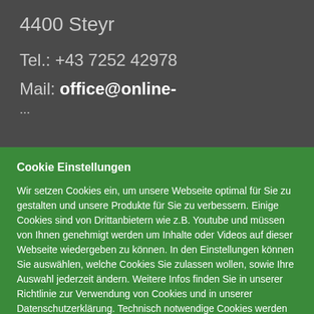4400 Steyr
Tel.: +43 7252 42978
Mail: office@online-
...
Cookie Einstellungen
Wir setzen Cookies ein, um unsere Webseite optimal für Sie zu gestalten und unsere Produkte für Sie zu verbessern. Einige Cookies sind von Drittanbietern wie z.B. Youtube und müssen von Ihnen genehmigt werden um Inhalte oder Videos auf dieser Webseite wiedergeben zu können. In den Einstellungen können Sie auswählen, welche Cookies Sie zulassen wollen, sowie Ihre Auswahl jederzeit ändern. Weitere Infos finden Sie in unserer Richtlinie zur Verwendung von Cookies und in unserer Datenschutzerklärung. Technisch notwendige Cookies werden immer gesetzt. Mit einem Klick auf "Zustimmen" akzeptieren Sie diese Verarbeitung.
Cookie Einstellungen
Zustimmen